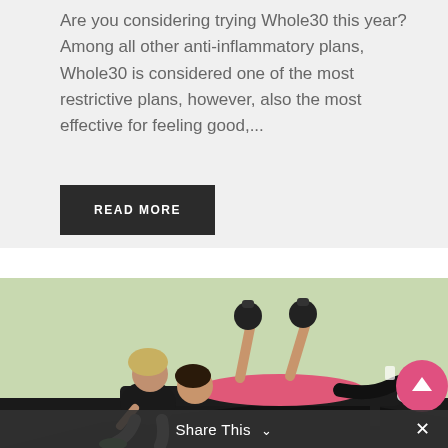Are you considering trying Whole30 this year? Among all other anti-inflammatory plans, Whole30 is considered one of the most restrictive plans, however, also the most effective for feeling good,...
READ MORE
[Figure (photo): A woman in a pink shirt lying on a gym bench pressing two kettlebells overhead while a trainer in a black shirt watches and assists in a gym with green walls.]
Share This ∨ ×